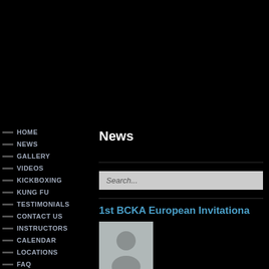HOME
NEWS
GALLERY
VIDEOS
KICKBOXING
KUNG FU
TESTIMONIALS
CONTACT US
INSTRUCTORS
CALENDAR
LOCATIONS
FAQ
HALL OF FAME
News
Search...
1st BCKA European Invitational
[Figure (photo): Placeholder person silhouette image]